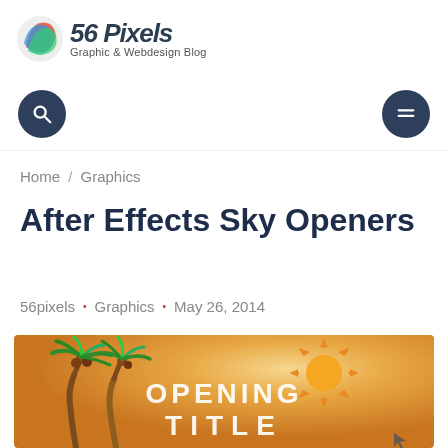56 Pixels — Graphic & Webdesign Blog
Home / Graphics
After Effects Sky Openers
56pixels • Graphics • May 26, 2014
[Figure (illustration): Promotional image for After Effects Sky Openers showing a warm orange gradient sky background with cartoon palm trees on the left, a cartoon sun with rays on the upper right, and white bold text reading OPENING TITLE in the center with a cursor icon at bottom right.]